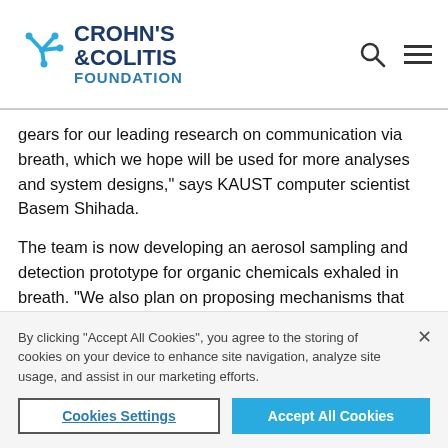[Figure (logo): Crohn's & Colitis Foundation logo with blue star/snowflake icon and text]
gears for our leading research on communication via breath, which we hope will be used for more analyses and system designs," says KAUST computer scientist Basem Shihada.
The team is now developing an aerosol sampling and detection prototype for organic chemicals exhaled in breath. "We also plan on proposing mechanisms that reduce the probability of infection in small spaces, including ventilation mechanisms, periodical air
By clicking “Accept All Cookies”, you agree to the storing of cookies on your device to enhance site navigation, analyze site usage, and assist in our marketing efforts.
Cookies Settings
Accept All Cookies